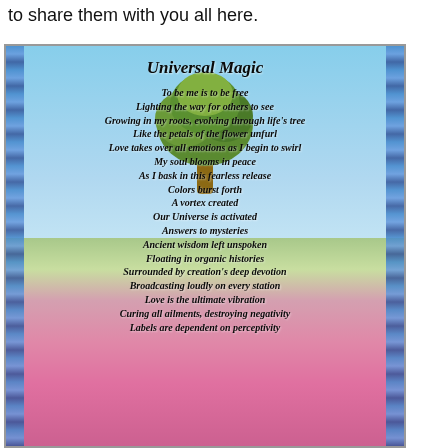to share them with you all here.
[Figure (illustration): A scenic image of a lone tree on a meadow of pink wildflowers under a blue sky, with blue wavy borders on left and right sides. Overlaid with a poem titled 'Universal Magic'.]
Universal Magic
To be me is to be free
Lighting the way for others to see
Growing in my roots, evolving through life's tree
Like the petals of the flower unfurl
Love takes over all emotions as I begin to swirl
My soul blooms in peace
As I bask in this fearless release
Colors burst forth
A vortex created
Our Universe is activated
Answers to mysteries
Ancient wisdom left unspoken
Floating in organic histories
Surrounded by creation's deep devotion
Broadcasting loudly on every station
Love is the ultimate vibration
Curing all ailments, destroying negativity
Labels are dependent on perceptivity